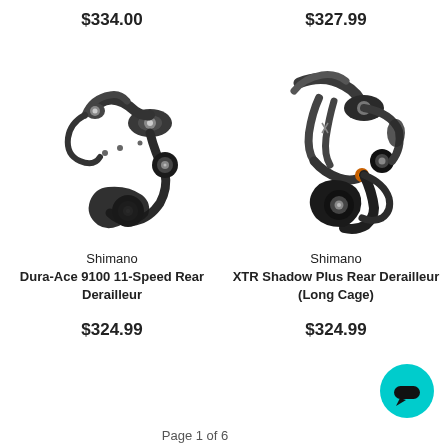$334.00
[Figure (photo): Shimano Dura-Ace 9100 11-Speed Rear Derailleur product photo on white background]
Shimano
Dura-Ace 9100 11-Speed Rear Derailleur
$324.99
$327.99
[Figure (photo): Shimano XTR Shadow Plus Rear Derailleur (Long Cage) product photo on white background]
Shimano
XTR Shadow Plus Rear Derailleur (Long Cage)
$324.99
[Figure (illustration): Cyan circular chat/support button with speech bubble icon]
Page 1 of 6